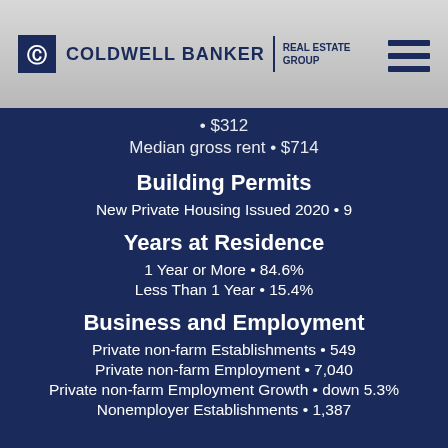COLDWELL BANKER | REAL ESTATE GROUP
• $312
Median gross rent • $714
Building Permits
New Private Housing Issued 2020 • 9
Years at Residence
1 Year or More • 84.6%
Less Than 1 Year • 15.4%
Business and Employment
Private non-farm Establishments • 549
Private non-farm Employment • 7,040
Private non-farm Employment Growth • down 5.3%
Nonemployer Establishments • 1,387